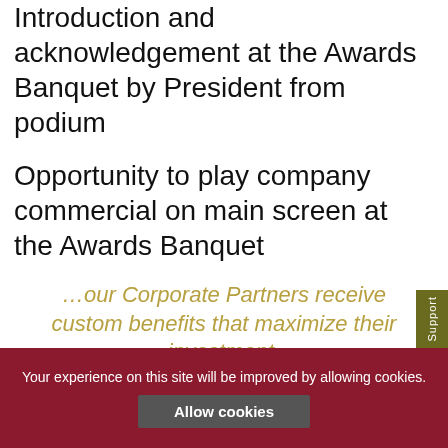Introduction and acknowledgement at the Awards Banquet by President from podium
Opportunity to play company commercial on main screen at the Awards Banquet
…our Corporate Partners receive custom benefits that maximize their investment.
Associate Member – $5,000
Your experience on this site will be improved by allowing cookies.